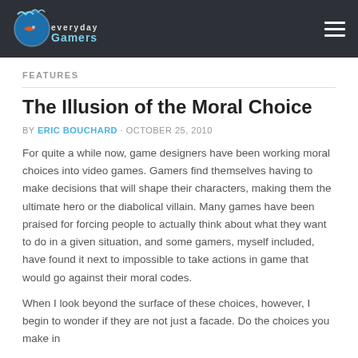everyday Gamers [logo] [hamburger menu]
FEATURES
The Illusion of the Moral Choice
BY ERIC BOUCHARD · OCTOBER 25, 2010
For quite a while now, game designers have been working moral choices into video games. Gamers find themselves having to make decisions that will shape their characters, making them the ultimate hero or the diabolical villain. Many games have been praised for forcing people to actually think about what they want to do in a given situation, and some gamers, myself included, have found it next to impossible to take actions in game that would go against their moral codes.
When I look beyond the surface of these choices, however, I begin to wonder if they are not just a facade. Do the choices you make in